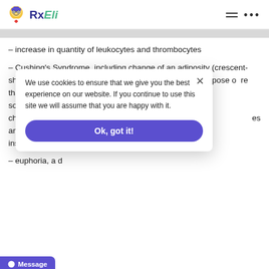RxEli
– increase in quantity of leukocytes and thrombocytes
– Cushing's Syndrome, including change of an adiposity (crescent-shaped face, the central obesity, a bull hump) at long purpose of more than 50 mg a day, use of sodium instead childbearing age, increases and lipoprotein inside
We use cookies to ensure that we give you the best experience on our website. If you continue to use this site we will assume that you are happy with it.
– euphoria, a disorders